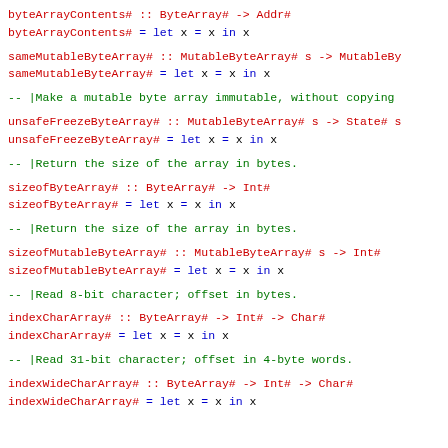byteArrayContents# :: ByteArray# -> Addr#
byteArrayContents# = let x = x in x
sameMutableByteArray# :: MutableByteArray# s -> MutableByteArray# s -> Int#
sameMutableByteArray# = let x = x in x
-- |Make a mutable byte array immutable, without copying
unsafeFreezeByteArray# :: MutableByteArray# s -> State# s
unsafeFreezeByteArray# = let x = x in x
-- |Return the size of the array in bytes.
sizeofByteArray# :: ByteArray# -> Int#
sizeofByteArray# = let x = x in x
-- |Return the size of the array in bytes.
sizeofMutableByteArray# :: MutableByteArray# s -> Int#
sizeofMutableByteArray# = let x = x in x
-- |Read 8-bit character; offset in bytes.
indexCharArray# :: ByteArray# -> Int# -> Char#
indexCharArray# = let x = x in x
-- |Read 31-bit character; offset in 4-byte words.
indexWideCharArray# :: ByteArray# -> Int# -> Char#
indexWideCharArray# = let x = x in x